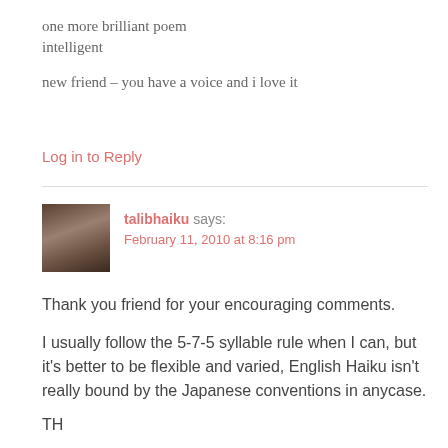one more brilliant poem
intelligent
new friend – you have a voice and i love it
Log in to Reply
talibhaiku says:
February 11, 2010 at 8:16 pm
Thank you friend for your encouraging comments.
I usually follow the 5-7-5 syllable rule when I can, but it's better to be flexible and varied, English Haiku isn't really bound by the Japanese conventions in anycase.
TH